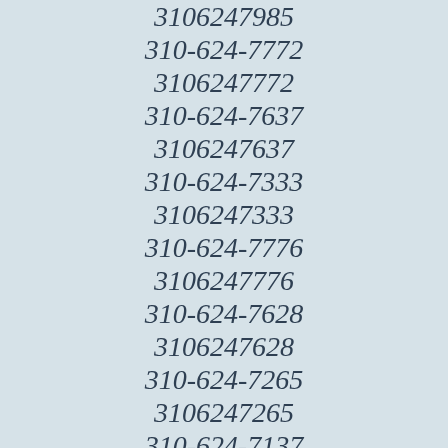3106247985
310-624-7772
3106247772
310-624-7637
3106247637
310-624-7333
3106247333
310-624-7776
3106247776
310-624-7628
3106247628
310-624-7265
3106247265
310-624-7137
3106247137